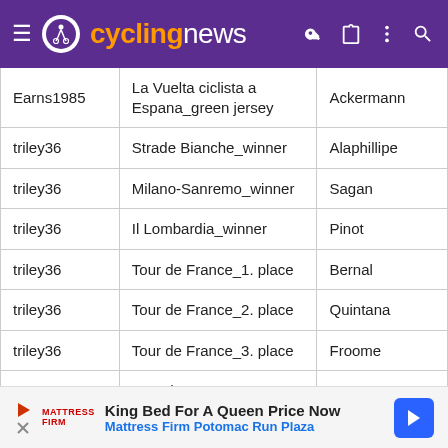cyclingnews
| Earns1985 | La Vuelta ciclista a Espana_green jersey | Ackermann |
| triley36 | Strade Bianche_winner | Alaphillipe |
| triley36 | Milano-Sanremo_winner | Sagan |
| triley36 | Il Lombardia_winner | Pinot |
| triley36 | Tour de France_1. place | Bernal |
| triley36 | Tour de France_2. place | Quintana |
| triley36 | Tour de France_3. place | Froome |
| triley36 | Tour de France_green jersey | Sagan |
| triley36 | Tour de France_white jersey | Bernal |
| triley36 | Tour de France_dot jersey | Bardet |
| triley36 | WCITT MEN ELITE_winner | Dennis |
King Bed For A Queen Price Now — Mattress Firm Potomac Run Plaza